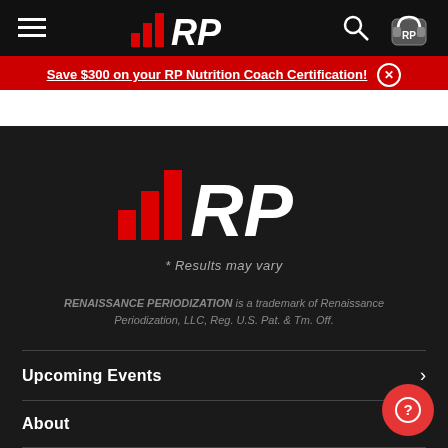RP (Renaissance Periodization) navigation bar with hamburger menu, RP logo, search icon, and cart icon
Save $300 on your RP Nutrition Coach Certification!
[Figure (logo): RP (Renaissance Periodization) large white logo on dark background]
* Results may vary
RENAISSANCE PERIODIZATION is a trademark of Renaissance Periodization, LLC, Reg. U.S. Pat. & Tm. Off.
Upcoming Events
About